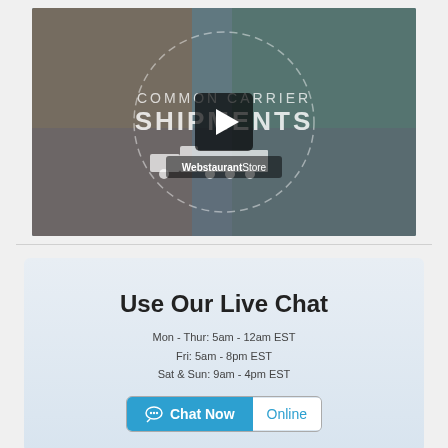[Figure (screenshot): Video thumbnail showing 'Common Carrier Shipments' with a play button overlay, a truck graphic, dashed circle design, and WebstaurantStore branding on a blurred outdoor background.]
Use Our Live Chat
Mon - Thur: 5am - 12am EST
Fri: 5am - 8pm EST
Sat & Sun: 9am - 4pm EST
Chat Now   Online